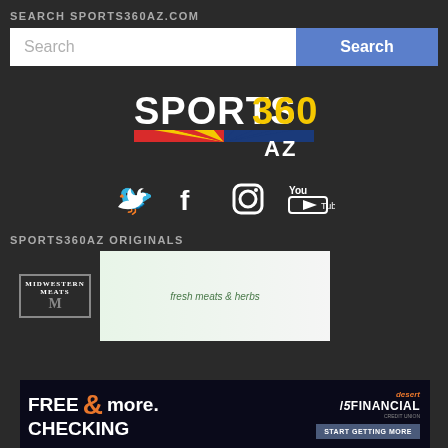SEARCH SPORTS360AZ.COM
[Figure (screenshot): Search bar with white input field and blue Search button]
[Figure (logo): Sports360 AZ logo with yellow 360, white SPORTS text, Arizona state flag strip, and AZ text]
[Figure (infographic): Social media icons: Twitter bird, Facebook f, Instagram camera, YouTube play button]
SPORTS360AZ ORIGINALS
[Figure (photo): Midwestern Meats promotional image with meat and herbs on white background]
[Figure (infographic): Desert Financial advertisement: FREE CHECKING & more. START GETTING MORE]